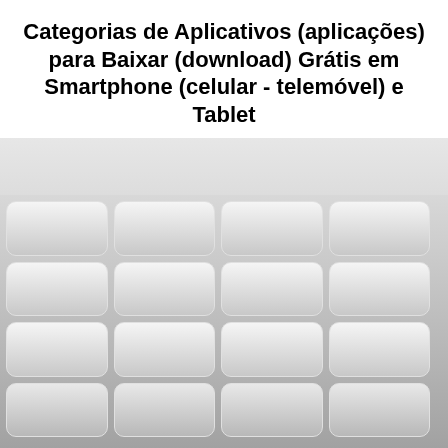Categorias de Aplicativos (aplicações) para Baixar (download) Grátis em Smartphone (celular - telemóvel) e Tablet
[Figure (illustration): A 4x4 grid of rounded rectangle tiles with a gradient background from light gray at top to darker gray at bottom, partially cut off at the bottom row.]